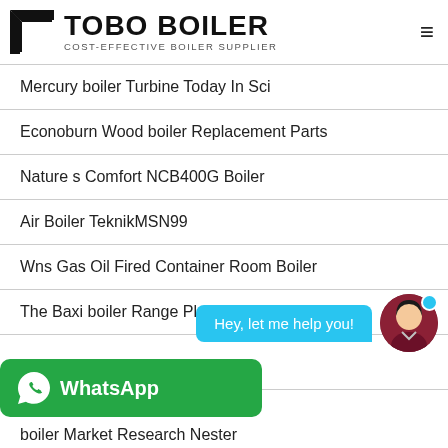TOBO BOILER COST-EFFECTIVE BOILER SUPPLIER
Mercury boiler Turbine Today In Sci
Econoburn Wood boiler Replacement Parts
Nature s Comfort NCB400G Boiler
Air Boiler TeknikMSN99
Wns Gas Oil Fired Container Room Boiler
The Baxi boiler Range Plumbproud
boiler Product IES
boiler Market Research Nester
boiler GreenBuildingAdvisor
[Figure (screenshot): Chat bot bubble saying 'Hey, let me help you!' with female avatar and blue dot indicator, plus WhatsApp green banner at bottom left]